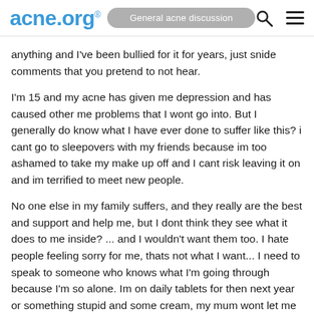acne.org® — General acne discussion
anything and I've been bullied for it for years, just snide comments that you pretend to not hear.
I'm 15 and my acne has given me depression and has caused other me problems that I wont go into. But I generally do know what I have ever done to suffer like this? i cant go to sleepovers with my friends because im too ashamed to take my make up off and I cant risk leaving it on and im terrified to meet new people.
No one else in my family suffers, and they really are the best and support and help me, but I dont think they see what it does to me inside? ... and I wouldn't want them too. I hate people feeling sorry for me, thats not what I want... I need to speak to someone who knows what I'm going through because I'm so alone. Im on daily tablets for then next year or something stupid and some cream, my mum wont let me take accutane as she has read about some teenagers who committed suicide whilst on this drug.. so I understand her worry and things. Sometimes Im just devastated and horrified to see what I look like underneath the layers of foundation... my acne is killed my social and its killing me inside, I